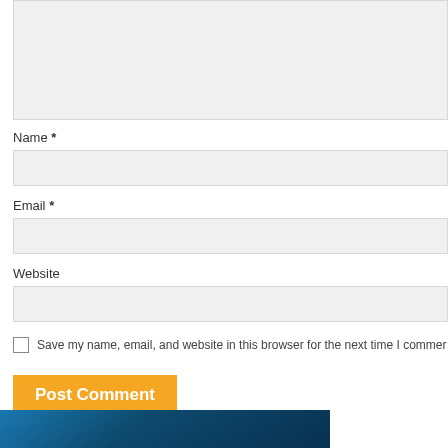[Figure (screenshot): Text area input box (light grey, empty)]
Name *
[Figure (screenshot): Name input field (light grey, empty)]
Email *
[Figure (screenshot): Email input field (light grey, empty)]
Website
[Figure (screenshot): Website input field (light grey, empty)]
Save my name, email, and website in this browser for the next time I commer
Post Comment
[Figure (photo): Partial image at bottom of page, dark blue tones]